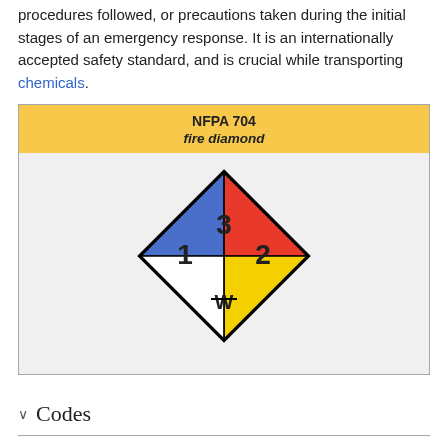procedures followed, or precautions taken during the initial stages of an emergency response. It is an internationally accepted safety standard, and is crucial while transporting chemicals.
[Figure (infographic): NFPA 704 fire diamond diagram showing a rotated square divided into four colored quadrants: red (top, value 3), blue (left, value 1), yellow (right, value 2), white (bottom, W with strikethrough).]
Codes
History